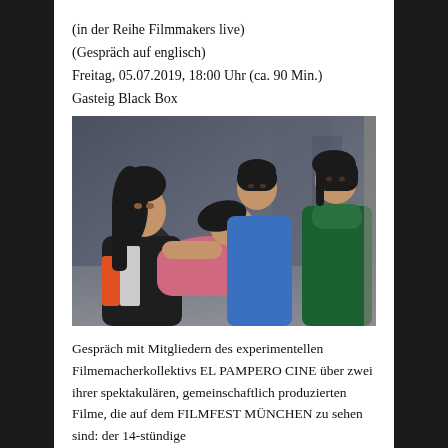(in der Reihe Filmmakers live)
(Gespräch auf englisch)
Freitag, 05.07.2019, 18:00 Uhr (ca. 90 Min.)
Gasteig Black Box
[Figure (photo): Four young women in an indoor/outdoor setting. One woman with long dark hair cradles another woman in a pink top who appears to be lying or leaning back. A third woman in a blue top stands behind them, and a fourth woman in a green turtleneck stands to the right.]
Gespräch mit Mitgliedern des experimentellen Filmemacherkollektivs EL PAMPERO CINE über zwei ihrer spektakulären, gemeinschaftlich produzierten Filme, die auf dem FILMFEST MÜNCHEN zu sehen sind: der 14-stündige